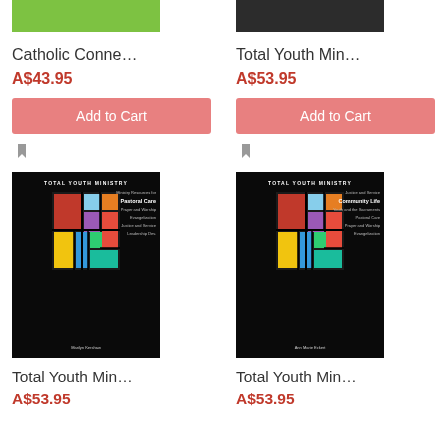[Figure (photo): Partial top of a book cover with green background (Catholic Connection book)]
Catholic Conne…
A$43.95
Add to Cart
[Figure (photo): Partial top of a book cover (Total Youth Ministry)]
Total Youth Min…
A$53.95
Add to Cart
[Figure (photo): Total Youth Ministry book cover with stained glass artwork, black background, subtitle: Pastoral Care]
Total Youth Min…
A$53.95
[Figure (photo): Total Youth Ministry book cover with stained glass artwork, black background, subtitle: Community Life]
Total Youth Min…
A$53.95